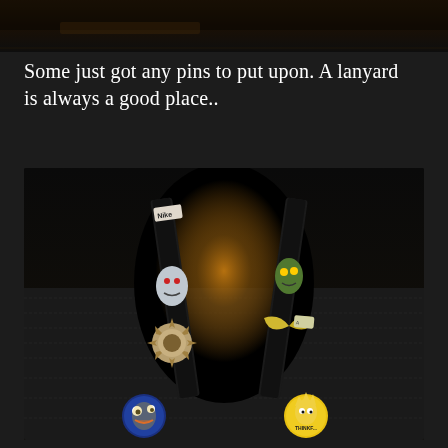[Figure (photo): Top portion of a dark image showing a lanyard or strap arrangement, mostly dark tones with some warm brown hues]
Some just got any pins to put upon. A lanyard is always a good place..
[Figure (photo): Close-up photo of two lanyards on dark denim fabric, decorated with various enamel pins including cartoon characters (Simpsons-style), a ghost pin, a monster/creature figure, and circular button badges with yellow cartoon characters. Dramatic lighting with warm golden glow in center against dark background.]